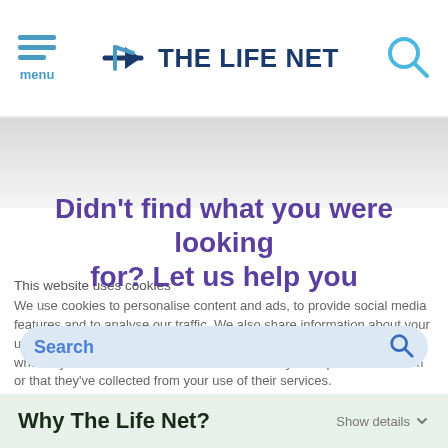menu | TLN THE LIFE NET
Didn't find what you were looking for? Let us help you
This website uses cookies
We use cookies to personalise content and ads, to provide social media features and to analyse our traffic. We also share information about your use of our site with our social media, advertising and analytics partners who may combine it with other information that you've provided to them or that they've collected from your use of their services.
Search
Why The Life Net?
Show details